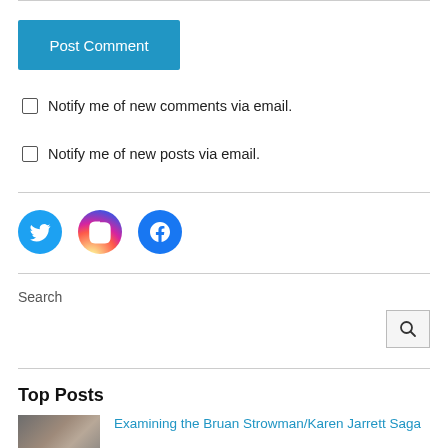Post Comment
Notify me of new comments via email.
Notify me of new posts via email.
[Figure (infographic): Three social media icon circles: Twitter (blue), Instagram (pink/gradient), Facebook (blue)]
Search
Top Posts
Examining the Bruan Strowman/Karen Jarrett Saga